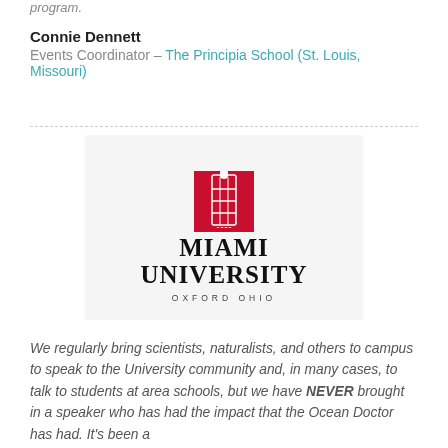program.
Connie Dennett
Events Coordinator – The Principia School (St. Louis, Missouri)
[Figure (logo): Miami University Oxford Ohio logo with red lantern/arch emblem and text]
We regularly bring scientists, naturalists, and others to campus to speak to the University community and, in many cases, to talk to students at area schools, but we have NEVER brought in a speaker who has had the impact that the Ocean Doctor has had. It's been a